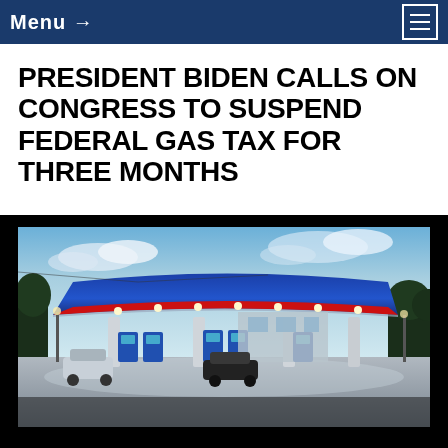Menu →
PRESIDENT BIDEN CALLS ON CONGRESS TO SUSPEND FEDERAL GAS TAX FOR THREE MONTHS
[Figure (photo): Exterior photo of a modern gas station at dusk with blue and red illuminated canopy roof, multiple fuel pumps, white columns, and cars in the forecourt, with trees and sky in background.]